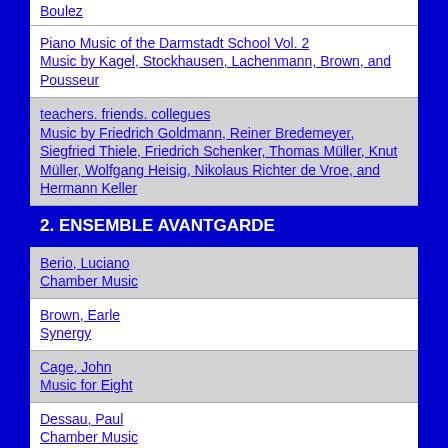Boulez
Piano Music of the Darmstadt School Vol. 2
Music by Kagel, Stockhausen, Lachenmann, Brown, and Pousseur
teachers. friends. collegues
Music by Friedrich Goldmann, Reiner Bredemeyer, Siegfried Thiele, Friedrich Schenker, Thomas Müller, Knut Müller, Wolfgang Heisig, Nikolaus Richter de Vroe, and Hermann Keller
2. ENSEMBLE AVANTGARDE
Berio, Luciano
Chamber Music
Brown, Earle
Synergy
Cage, John
Music for Eight
Dessau, Paul
Chamber Music
Feldman, Morton
Chamber Music